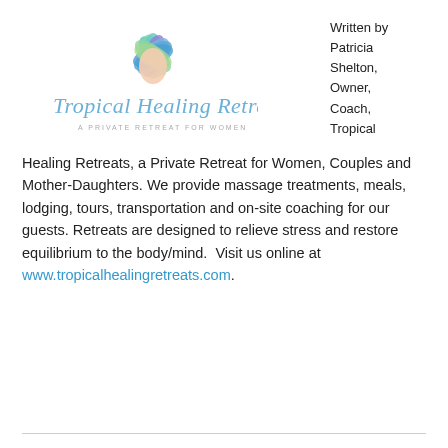[Figure (logo): Tropical Healing Retreats logo: colorful flower/peacock feather design above cursive text 'Tropical Healing Retreats' with tagline 'A PRIVATE RETREAT FOR WOMEN']
Written by Patricia Shelton, Owner, Coach, Tropical
Healing Retreats, a Private Retreat for Women, Couples and Mother-Daughters. We provide massage treatments, meals, lodging, tours, transportation and on-site coaching for our guests. Retreats are designed to relieve stress and restore equilibrium to the body/mind.  Visit us online at www.tropicalhealingretreats.com.